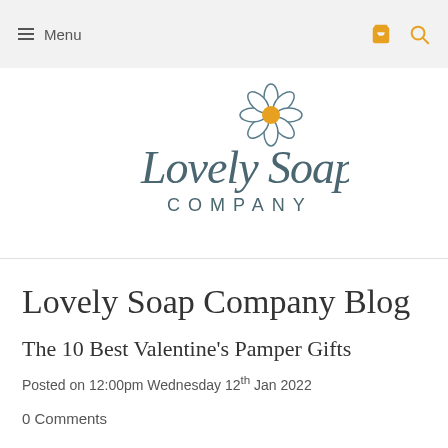≡ Menu
[Figure (logo): Lovely Soap Company logo with daisy flower illustration and cursive/spaced lettering]
Lovely Soap Company Blog
The 10 Best Valentine's Pamper Gifts
Posted on 12:00pm Wednesday 12th Jan 2022
0 Comments